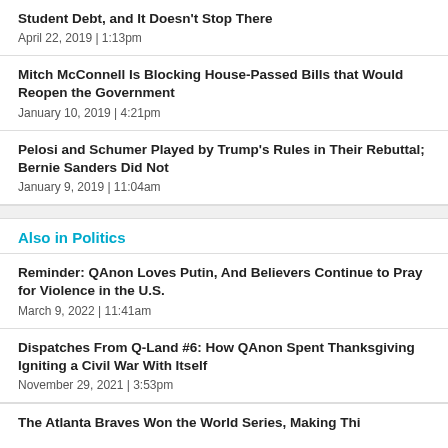Student Debt, and It Doesn't Stop There
April 22, 2019  |  1:13pm
Mitch McConnell Is Blocking House-Passed Bills that Would Reopen the Government
January 10, 2019  |  4:21pm
Pelosi and Schumer Played by Trump's Rules in Their Rebuttal; Bernie Sanders Did Not
January 9, 2019  |  11:04am
Also in Politics
Reminder: QAnon Loves Putin, And Believers Continue to Pray for Violence in the U.S.
March 9, 2022  |  11:41am
Dispatches From Q-Land #6: How QAnon Spent Thanksgiving Igniting a Civil War With Itself
November 29, 2021  |  3:53pm
The Atlanta Braves Won the World Series, Making This…